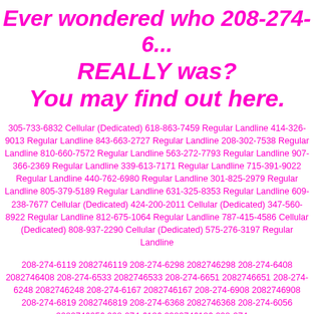Ever wondered who 208-274-6... REALLY was? You may find out here.
305-733-6832 Cellular (Dedicated) 618-863-7459 Regular Landline 414-326-9013 Regular Landline 843-663-2727 Regular Landline 208-302-7538 Regular Landline 810-660-7572 Regular Landline 563-272-7793 Regular Landline 907-366-2369 Regular Landline 339-613-7171 Regular Landline 715-391-9022 Regular Landline 440-762-6980 Regular Landline 301-825-2979 Regular Landline 805-379-5189 Regular Landline 631-325-8353 Regular Landline 609-238-7677 Cellular (Dedicated) 424-200-2011 Cellular (Dedicated) 347-560-8922 Regular Landline 812-675-1064 Regular Landline 787-415-4586 Cellular (Dedicated) 808-937-2290 Cellular (Dedicated) 575-276-3197 Regular Landline
208-274-6119 2082746119 208-274-6298 2082746298 208-274-6408 2082746408 208-274-6533 2082746533 208-274-6651 2082746651 208-274-6248 2082746248 208-274-6167 2082746167 208-274-6908 2082746908 208-274-6819 2082746819 208-274-6368 2082746368 208-274-6056 2082746056 208-274-6186 2082746186 208-274-...